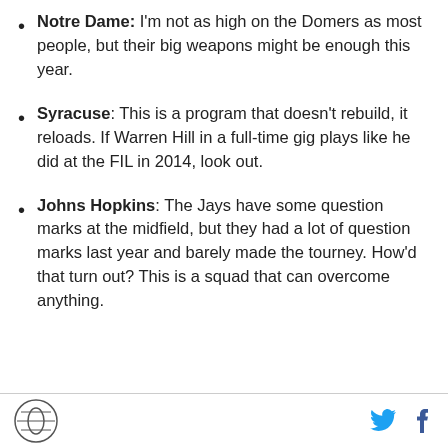Notre Dame: I'm not as high on the Domers as most people, but their big weapons might be enough this year.
Syracuse: This is a program that doesn't rebuild, it reloads. If Warren Hill in a full-time gig plays like he did at the FIL in 2014, look out.
Johns Hopkins: The Jays have some question marks at the midfield, but they had a lot of question marks last year and barely made the tourney. How'd that turn out? This is a squad that can overcome anything.